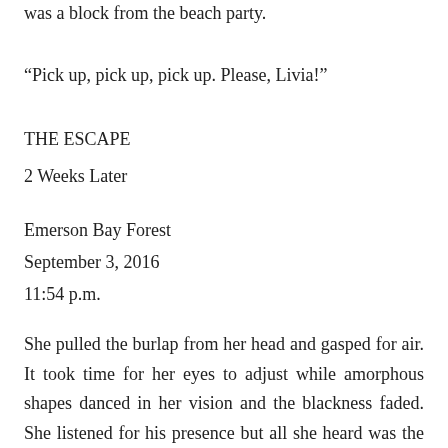was a block from the beach party.
“Pick up, pick up, pick up. Please, Livia!”
THE ESCAPE
2 Weeks Later
Emerson Bay Forest
September 3, 2016
11:54 p.m.
She pulled the burlap from her head and gasped for air. It took time for her eyes to adjust while amorphous shapes danced in her vision and the blackness faded. She listened for his presence but all she heard was the splattering rain outside. Dropping the burlap bag to the ground, she tiptoed to the